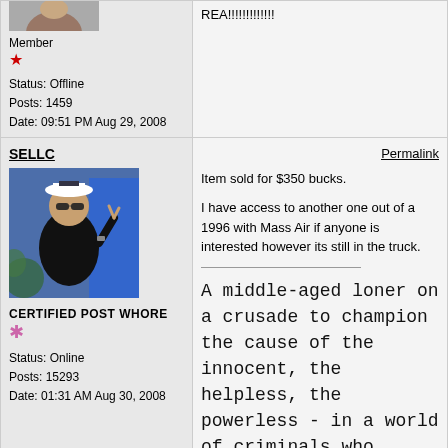[Figure (photo): Partial avatar image at top of page, cropped head/face area]
Member
Status: Offline
Posts: 1459
Date: 09:51 PM Aug 29, 2008
REA!!!!!!!!!!!!!!
SELLC
Permalink
[Figure (photo): User avatar: person wearing white captain's hat and sunglasses, making rock hand gesture, wearing black shirt]
CERTIFIED POST WHORE
Status: Online
Posts: 15293
Date: 01:31 AM Aug 30, 2008
Item sold for $350 bucks.
I have access to another one out of a 1996 with Mass Air if anyone is interested however its still in the truck.
A middle-aged loner on a crusade to champion the cause of the innocent, the helpless, the powerless - in a world of criminals who operate above the law.
stoma
Permalink